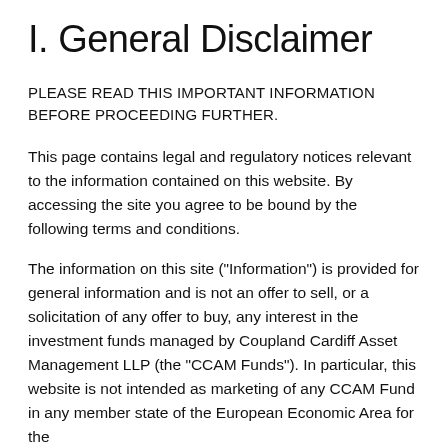I. General Disclaimer
PLEASE READ THIS IMPORTANT INFORMATION BEFORE PROCEEDING FURTHER.
This page contains legal and regulatory notices relevant to the information contained on this website. By accessing the site you agree to be bound by the following terms and conditions.
The information on this site ("Information") is provided for general information and is not an offer to sell, or a solicitation of any offer to buy, any interest in the investment funds managed by Coupland Cardiff Asset Management LLP (the "CCAM Funds"). In particular, this website is not intended as marketing of any CCAM Fund in any member state of the European Economic Area for the